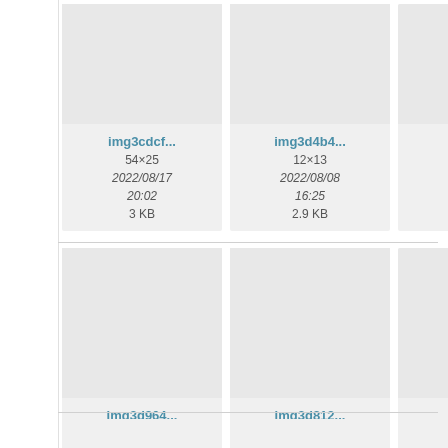[Figure (screenshot): File browser grid view showing image thumbnails with filenames, dimensions, dates, and file sizes. Row 1: img3cdcf... (54×25, 2022/08/17 20:02, 3 KB), img3d4b4... (12×13, 2022/08/08 16:25, 2.9 KB), partial third item. Row 2: img3d964... (500×154, 2022/08/08 17:35, 11.3 KB), img3d812... (14×13, 2022/08/08 16:27, 2.9 KB), partial third item. Partial row 3 visible at bottom.]